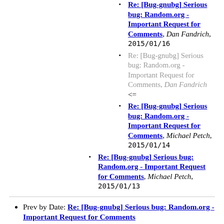Re: [Bug-gnubg] Serious bug: Random.org - Important Request for Comments, Dan Fandrich, 2015/01/16
Re: [Bug-gnubg] Serious bug: Random.org - Important Request for Comments, Dan Fandrich <=
Re: [Bug-gnubg] Serious bug: Random.org - Important Request for Comments, Michael Petch, 2015/01/14
Re: [Bug-gnubg] Serious bug: Random.org - Important Request for Comments, Michael Petch, 2015/01/13
Prev by Date: Re: [Bug-gnubg] Serious bug: Random.org - Important Request for Comments
Next by Date: Re: [Bug-gnubg] Serious bug: Random.org - Important Request for Comments
Previous by thread: Re: [Bug-gnubg] Serious bug: Random.org - Important Request for Comments
Next by thread: Re: [Bug-gnubg] Serious bug: Random.org - Important Request for Comments
Index(es): Date, Thread